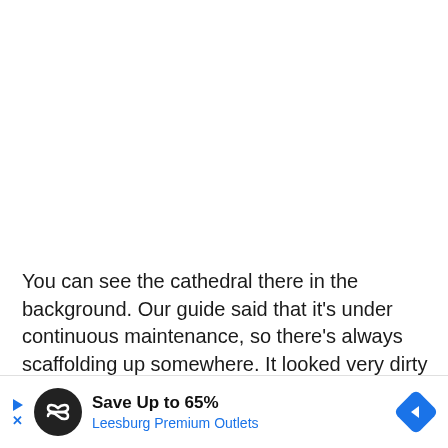You can see the cathedral there in the background. Our guide said that it's under continuous maintenance, so there's always scaffolding up somewhere. It looked very dirty and black during our visit, the result of pollution per our guide. They had cleaned the dirt off in a few places and it looked so much prettier in those areas. It must be breathtaking...
[Figure (other): Advertisement banner for Leesburg Premium Outlets - Save Up to 65%]